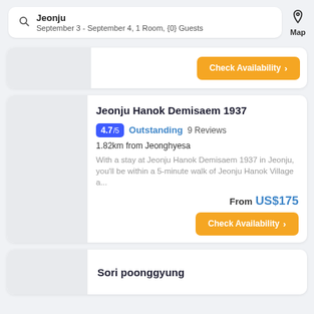Jeonju — September 3 - September 4, 1 Room, {0} Guests — Map
Check Availability >
Jeonju Hanok Demisaem 1937
4.7/5 Outstanding 9 Reviews
1.82km from Jeonghyesa
With a stay at Jeonju Hanok Demisaem 1937 in Jeonju, you'll be within a 5-minute walk of Jeonju Hanok Village a...
From US$175
Check Availability >
Sori poonggyung